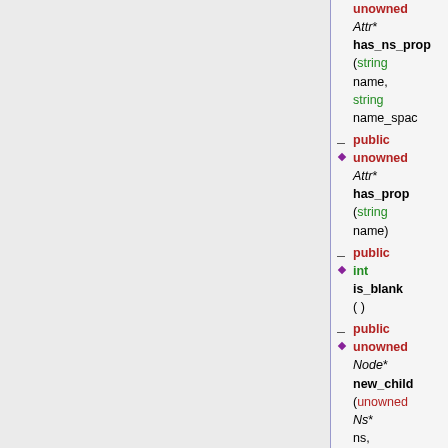public unowned Attr* has_ns_prop ( string name, string name_space
public unowned Attr* has_prop ( string name )
public int is_blank ( )
public unowned Node* new_child ( unowned Ns* ns, string